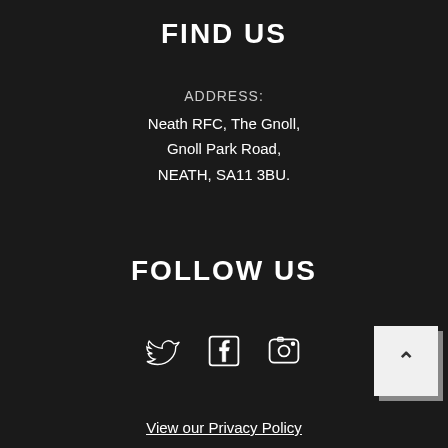FIND US
ADDRESS:
Neath RFC, The Gnoll,
Gnoll Park Road,
NEATH, SA11 3BU.
FOLLOW US
[Figure (illustration): Three social media icons: Twitter bird, Facebook f, and Instagram camera, rendered as white outline icons on dark background]
[Figure (other): Back to top button - light grey square with upward-pointing chevron arrow]
View our Privacy Policy